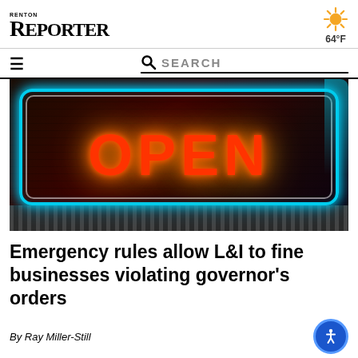RENTON REPORTER
[Figure (photo): Neon OPEN sign with orange/red glowing letters and blue neon border, photographed through a window]
Emergency rules allow L&I to fine businesses violating governor's orders
By Ray Miller-Still